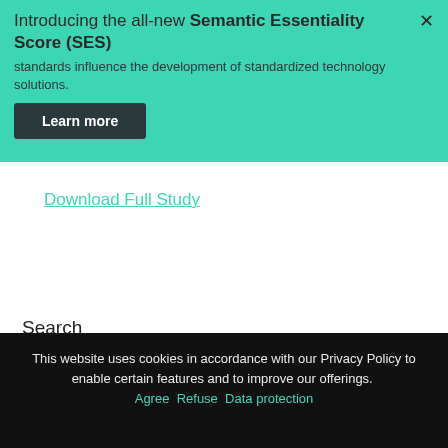Introducing the all-new Semantic Essentiality Score (SES)
standards influence the development of standardized technology solutions.
Learn more
Download Full Study
Search
Search
Recent Posts
Connecting the Dots Pt. 3: How to file valid and essential patents – Slides and Recording
This website uses cookies in accordance with our Privacy Policy to enable certain features and to improve our offerings. Agree Refuse Data protection